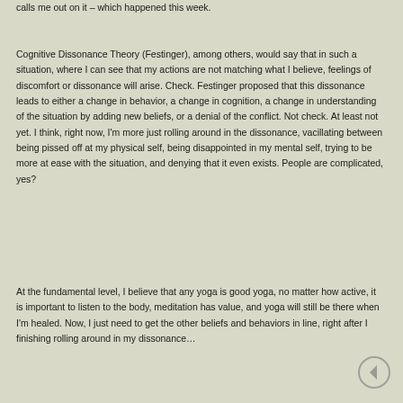calls me out on it – which happened this week.
Cognitive Dissonance Theory (Festinger), among others, would say that in such a situation, where I can see that my actions are not matching what I believe, feelings of discomfort or dissonance will arise. Check. Festinger proposed that this dissonance leads to either a change in behavior, a change in cognition, a change in understanding of the situation by adding new beliefs, or a denial of the conflict. Not check. At least not yet. I think, right now, I'm more just rolling around in the dissonance, vacillating between being pissed off at my physical self, being disappointed in my mental self, trying to be more at ease with the situation, and denying that it even exists. People are complicated, yes?
At the fundamental level, I believe that any yoga is good yoga, no matter how active, it is important to listen to the body, meditation has value, and yoga will still be there when I'm healed. Now, I just need to get the other beliefs and behaviors in line, right after I finishing rolling around in my dissonance…